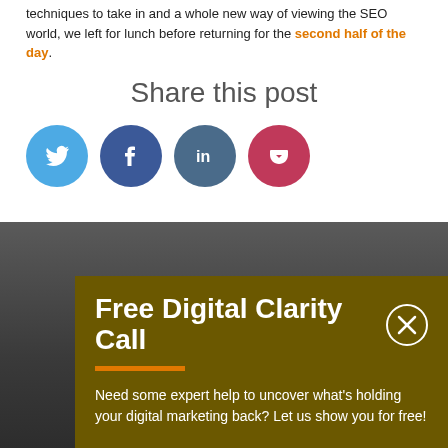techniques to take in and a whole new way of viewing the SEO world, we left for lunch before returning for the second half of the day.
Share this post
[Figure (infographic): Four social media share buttons: Twitter (light blue circle), Facebook (dark blue circle), LinkedIn (dark blue-grey circle), Pocket (red circle)]
[Figure (infographic): Dark gradient background section with an olive/dark yellow popup box containing title 'Free Digital Clarity Call', an orange underline, and text 'Need some expert help to uncover what's holding your digital marketing back? Let us show you for free!' with a close (X) button.]
Free Digital Clarity Call
Need some expert help to uncover what's holding your digital marketing back? Let us show you for free!